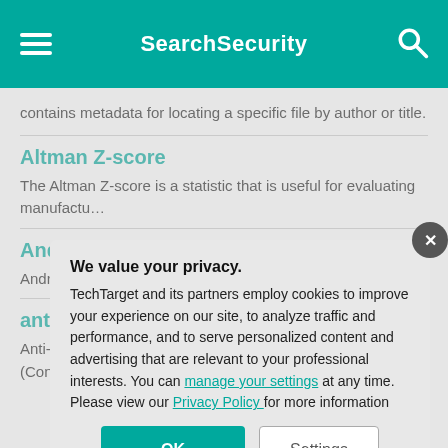SearchSecurity
contains metadata for locating a specific file by author or title.
Altman Z-score
The Altman Z-score is a statistic that is useful for evaluating manufactu…
Andro…
Android… develop… app.
anti-m…
Anti-lau… program… custom… (Contin…
We value your privacy.
TechTarget and its partners employ cookies to improve your experience on our site, to analyze traffic and performance, and to serve personalized content and advertising that are relevant to your professional interests. You can manage your settings at any time. Please view our Privacy Policy for more information